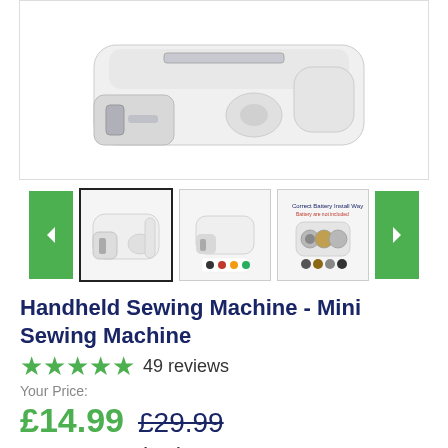[Figure (photo): Main product image of a white handheld sewing machine viewed from above/side angle, showing metallic needle area]
[Figure (photo): Thumbnail carousel with three product images of the handheld sewing machine and navigation arrows]
Handheld Sewing Machine - Mini Sewing Machine
49 reviews
Your Price:
£14.99  £29.99
You Save: £15.00 (50%)